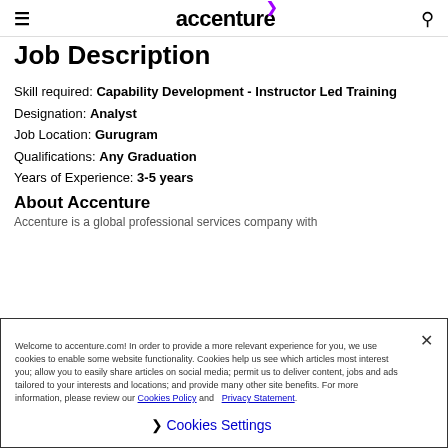accenture
Job Description
Skill required: Capability Development - Instructor Led Training
Designation: Analyst
Job Location: Gurugram
Qualifications: Any Graduation
Years of Experience: 3-5 years
About Accenture
Accenture is a global professional services company with
Welcome to accenture.com! In order to provide a more relevant experience for you, we use cookies to enable some website functionality. Cookies help us see which articles most interest you; allow you to easily share articles on social media; permit us to deliver content, jobs and ads tailored to your interests and locations; and provide many other site benefits. For more information, please review our Cookies Policy and Privacy Statement.
Cookies Settings